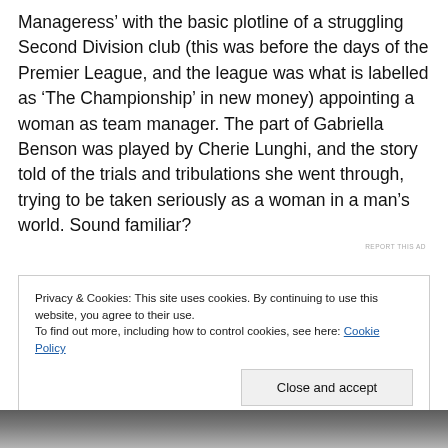Manageress' with the basic plotline of a struggling Second Division club (this was before the days of the Premier League, and the league was what is labelled as 'The Championship' in new money) appointing a woman as team manager. The part of Gabriella Benson was played by Cherie Lunghi, and the story told of the trials and tribulations she went through, trying to be taken seriously as a woman in a man's world. Sound familiar?
REPORT THIS AD
Privacy & Cookies: This site uses cookies. By continuing to use this website, you agree to their use.
To find out more, including how to control cookies, see here: Cookie Policy
Close and accept
[Figure (photo): Black and white photo strip at the bottom of the page, partially visible]